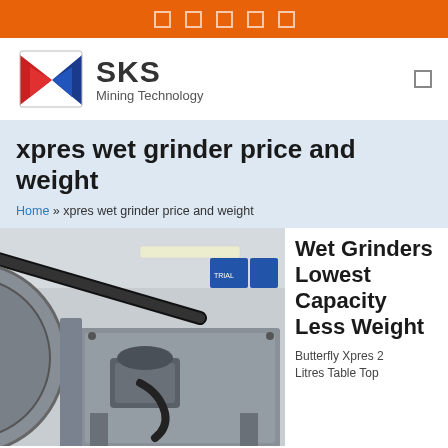SKS Mining Technology navigation bar
[Figure (logo): SKS Mining Technology logo with red and blue angular shield icon and bold SKS text]
xpres wet grinder price and weight
Home » xpres wet grinder price and weight
[Figure (photo): Industrial wet grinder machine photographed from below at an angle, showing belt drive system, motor, and metal frame structure in a factory setting]
Wet Grinders Lowest Capacity Less Weight
Butterfly Xpres 2
Litres Table Top